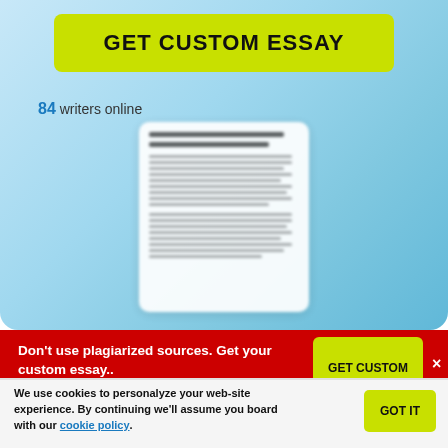GET CUSTOM ESSAY
84 writers online
[Figure (screenshot): Blurred preview of an essay document with title and body text]
Don't use plagiarized sources. Get your custom essay..
GET CUSTOM PAPER
×
We use cookies to personalyze your web-site experience. By continuing we'll assume you board with our cookie policy.
GOT IT